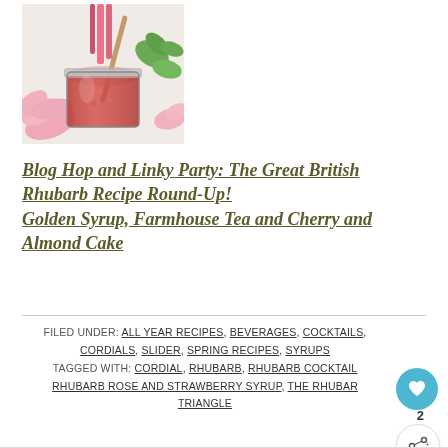[Figure (photo): Top-down photo of a glass jar filled with red/pink rhubarb cordial, surrounded by pink tulips, green herbs, and rhubarb stalks on a white surface]
Blog Hop and Linky Party: The Great British Rhubarb Recipe Round-Up!
Golden Syrup, Farmhouse Tea and Cherry and Almond Cake
FILED UNDER: ALL YEAR RECIPES, BEVERAGES, COCKTAILS, CORDIALS, SLIDER, SPRING RECIPES, SYRUPS
TAGGED WITH: CORDIAL, RHUBARB, RHUBARB COCKTAIL RHUBARB ROSE AND STRAWBERRY SYRUP, THE RHUBARB TRIANGLE